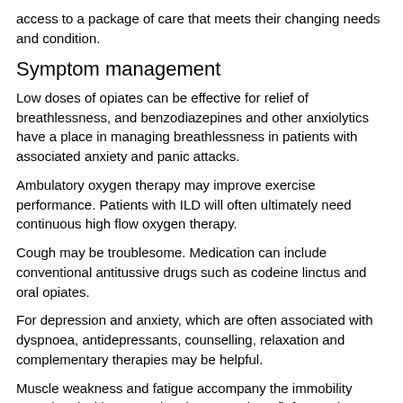access to a package of care that meets their changing needs and condition.
Symptom management
Low doses of opiates can be effective for relief of breathlessness, and benzodiazepines and other anxiolytics have a place in managing breathlessness in patients with associated anxiety and panic attacks.
Ambulatory oxygen therapy may improve exercise performance. Patients with ILD will often ultimately need continuous high flow oxygen therapy.
Cough may be troublesome. Medication can include conventional antitussive drugs such as codeine linctus and oral opiates.
For depression and anxiety, which are often associated with dyspnoea, antidepressants, counselling, relaxation and complementary therapies may be helpful.
Muscle weakness and fatigue accompany the immobility associated with ILD, and patients may benefit from pulmonary rehabilitation.
End-of-life decisions
Advanced directives/living wills and preferences and priorities of care allow patients to maintain a degree of control by allowing them to